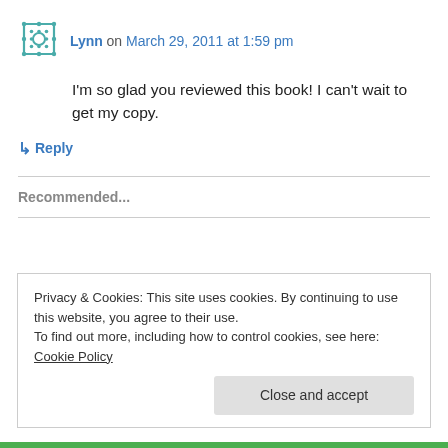Lynn on March 29, 2011 at 1:59 pm
I'm so glad you reviewed this book! I can't wait to get my copy.
↳ Reply
Recommended...
Privacy & Cookies: This site uses cookies. By continuing to use this website, you agree to their use.
To find out more, including how to control cookies, see here: Cookie Policy
Close and accept